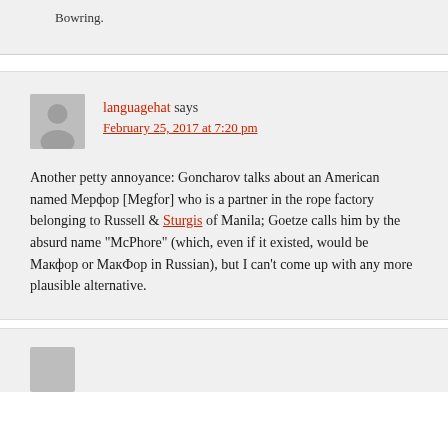Bowring.
languagehat says
February 25, 2017 at 7:20 pm
Another petty annoyance: Goncharov talks about an American named Мерфор [Megfor] who is a partner in the rope factory belonging to Russell & Sturgis of Manila; Goetze calls him by the absurd name "McPhore" (which, even if it existed, would be Макфор or МакФор in Russian), but I can't come up with any more plausible alternative.